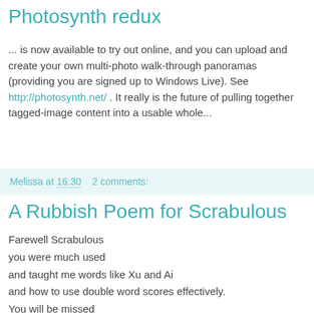Photosynth redux
... is now available to try out online, and you can upload and create your own multi-photo walk-through panoramas (providing you are signed up to Windows Live). See http://photosynth.net/ . It really is the future of pulling together tagged-image content into a usable whole...
Melissa at 16:30   2 comments:
A Rubbish Poem for Scrabulous
Farewell Scrabulous
you were much used
and taught me words like Xu and Ai
and how to use double word scores effectively.
You will be missed
but maybe
now I will get more work done.